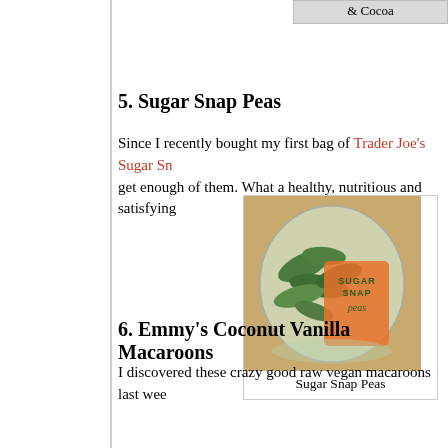& Cocoa
5. Sugar Snap Peas
Since I recently bought my first bag of Trader Joe’s Sugar Sn… get enough of them. What a healthy, nutritious and satisfying…
[Figure (photo): A bag of Sugar Snap Peas with orange Trader Joe’s style branding and green peas visible inside a clear plastic bag.]
Sugar Snap Peas
6. Emmy’s Coconut Vanilla Macaroons
I discovered these crazy good raw vegan macaroons last wee…